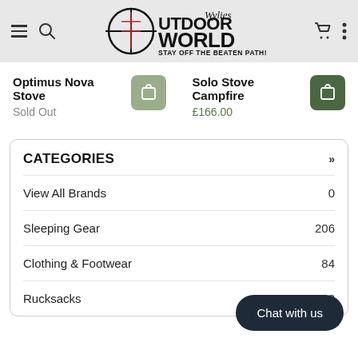[Figure (logo): Wylies Outdoor World logo with crosshair scope icon and tagline STAY OFF THE BEATEN PATH!]
Optimus Nova Stove
Sold Out
Solo Stove Campfire
£166.00
CATEGORIES
View All Brands  0
Sleeping Gear  206
Clothing & Footwear  84
Rucksacks  93
Chat with us